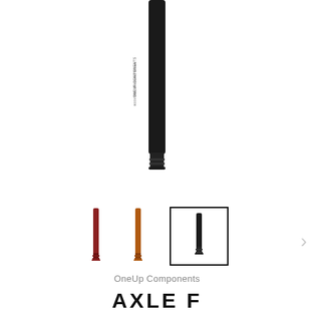[Figure (photo): Main product image: a black cylindrical axle component (OneUp Components) oriented vertically, threaded at the bottom end, shown on white background]
[Figure (photo): Three thumbnail variant images of the axle component: left is red/dark-red colored, middle is orange/brown colored, right (selected, highlighted with black border) is black colored]
OneUp Components
AXLE F